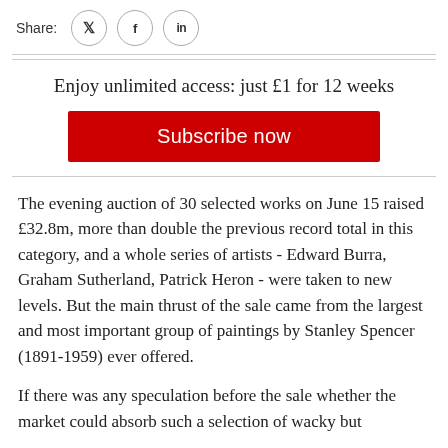Share:
Enjoy unlimited access: just £1 for 12 weeks
Subscribe now
The evening auction of 30 selected works on June 15 raised £32.8m, more than double the previous record total in this category, and a whole series of artists - Edward Burra, Graham Sutherland, Patrick Heron - were taken to new levels. But the main thrust of the sale came from the largest and most important group of paintings by Stanley Spencer (1891-1959) ever offered.
If there was any speculation before the sale whether the market could absorb such a selection of wacky but